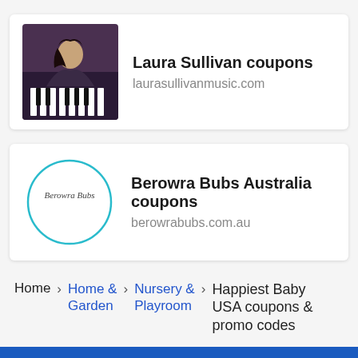[Figure (photo): Photo of Laura Sullivan playing piano]
Laura Sullivan coupons
laurasullivanmusic.com
[Figure (logo): Berowra Bubs circular logo with teal border]
Berowra Bubs Australia coupons
berowrabubs.com.au
Home > Home & Garden > Nursery & Playroom > Happiest Baby USA coupons & promo codes